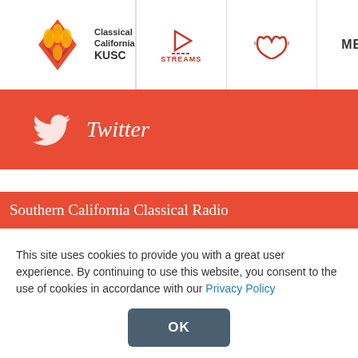[Figure (logo): Classical California KUSC logo with diamond/flame icon in navigation bar]
[Figure (screenshot): Navigation bar with STREAMS icon (play button with dots), hearts/radio waves icon, MENU text, and play button circle]
[Figure (screenshot): Twitter banner with Twitter bird icon and italic Twitter text on orange-red background]
Southern California Classical Radio
[Figure (logo): Classical California KUSC logo large white version on dark red background]
This site uses cookies to provide you with a great user experience. By continuing to use this website, you consent to the use of cookies in accordance with our Privacy Policy
OK